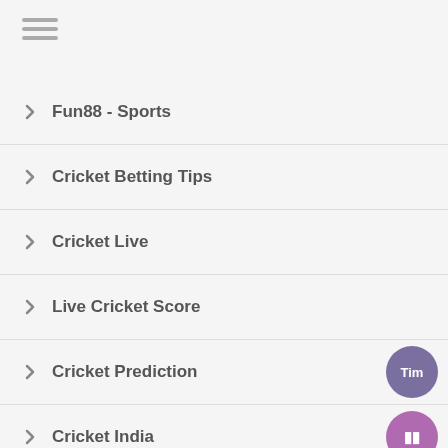[Figure (other): Hamburger menu icon (three horizontal lines)]
Fun88 - Sports
Cricket Betting Tips
Cricket Live
Live Cricket Score
Cricket Prediction
Cricket India
Live Cricket